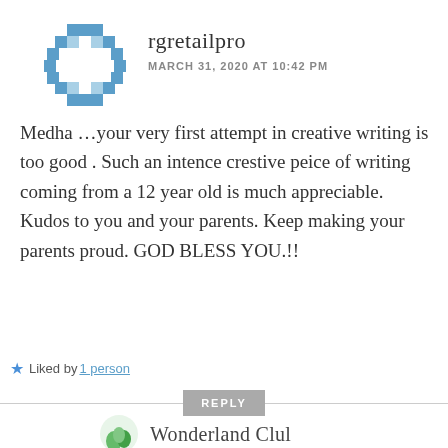[Figure (illustration): Blue pixel/checkered circle avatar for user rgretailpro]
rgretailpro
MARCH 31, 2020 AT 10:42 PM
Medha ...your very first attempt in creative writing is too good . Such an intence crestive peice of writing coming from a 12 year old is much appreciable. Kudos to you and your parents. Keep making your parents proud. GOD BLESS YOU.!!
Liked by 1 person
REPLY
[Figure (illustration): Green leaf/plant avatar partially visible at bottom]